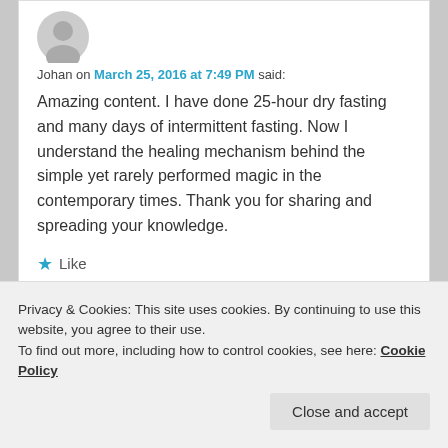[Figure (illustration): Default avatar silhouette in gray circle]
Johan on March 25, 2016 at 7:49 PM said:
Amazing content. I have done 25-hour dry fasting and many days of intermittent fasting. Now I understand the healing mechanism behind the simple yet rarely performed magic in the contemporary times. Thank you for sharing and spreading your knowledge.
★ Like
Reply ↓
Privacy & Cookies: This site uses cookies. By continuing to use this website, you agree to their use.
To find out more, including how to control cookies, see here: Cookie Policy
Close and accept